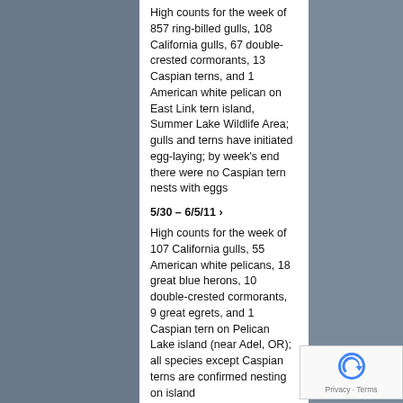High counts for the week of 857 ring-billed gulls, 108 California gulls, 67 double-crested cormorants, 13 Caspian terns, and 1 American white pelican on East Link tern island, Summer Lake Wildlife Area; gulls and terns have initiated egg-laying; by week's end there were no Caspian tern nests with eggs
5/30 – 6/5/11 ›
High counts for the week of 107 California gulls, 55 American white pelicans, 18 great blue herons, 10 double-crested cormorants, 9 great egrets, and 1 Caspian tern on Pelican Lake island (near Adel, OR); all species except Caspian terns are confirmed nesting on island
5/30 – 6/5/11 ›
Predator activity observed at East Link tern island, Summer Lake Wildlife Area; 2 gull heads and 1 tern head observed on island, presumably killed by a great horned owl; color-bands from a Caspian tern that was banded as a chick on East Sand Island in 2007 and had been resighted on the East Link tern island earlier this year was found in a great horned owl pellet near the island